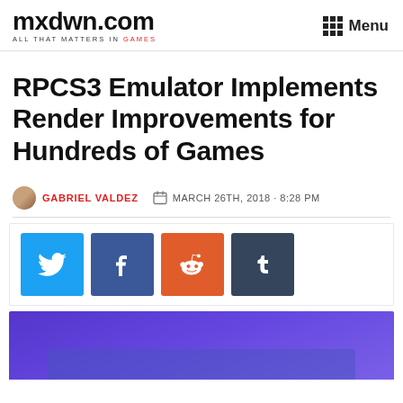mxdwn.com — ALL THAT MATTERS IN GAMES — Menu
RPCS3 Emulator Implements Render Improvements for Hundreds of Games
GABRIEL VALDEZ — MARCH 26TH, 2018 · 8:28 PM
[Figure (infographic): Social sharing buttons: Twitter (blue), Facebook (dark blue), Reddit (orange), Tumblr (dark slate)]
[Figure (photo): Article hero image with purple/blue background, partially visible at bottom of page]